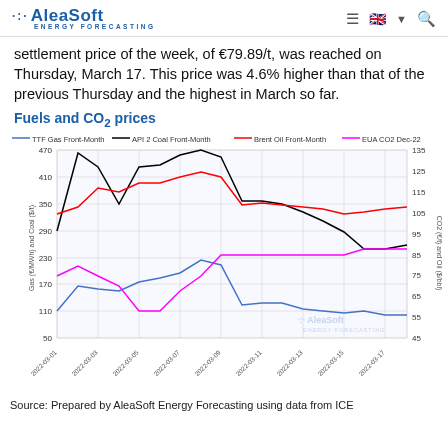AleaSoft ENERGY FORECASTING
settlement price of the week, of €79.89/t, was reached on Thursday, March 17. This price was 4.6% higher than that of the previous Thursday and the highest in March so far.
Fuels and CO₂ prices
[Figure (line-chart): Fuels and CO₂ prices]
Source: Prepared by AleaSoft Energy Forecasting using data from ICE